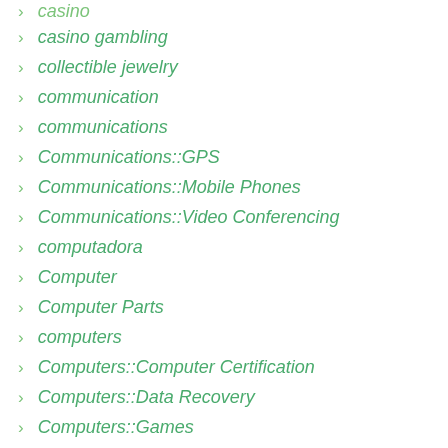casino
casino gambling
collectible jewelry
communication
communications
Communications::GPS
Communications::Mobile Phones
Communications::Video Conferencing
computadora
Computer
Computer Parts
computers
Computers::Computer Certification
Computers::Data Recovery
Computers::Games